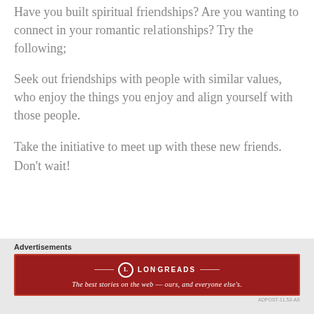Have you built spiritual friendships? Are you wanting to connect in your romantic relationships? Try the following;
Seek out friendships with people with similar values, who enjoy the things you enjoy and align yourself with those people.
Take the initiative to meet up with these new friends. Don't wait!
Advertisements
[Figure (other): Longreads advertisement banner in dark red with logo and tagline: The best stories on the web — ours, and everyone else's.]